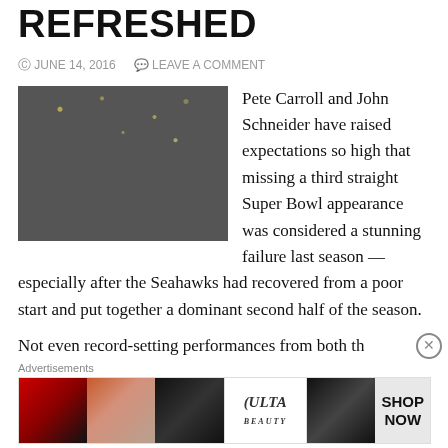REFRESHED
JUNE 14, 2016   LEAVE A COMMENT
[Figure (photo): Photo of Pete Carroll and John Schneider celebrating, with confetti falling]
Pete Carroll and John Schneider have raised expectations so high that missing a third straight Super Bowl appearance was considered a stunning failure last season — especially after the Seahawks had recovered from a poor start and put together a dominant second half of the season.
Not even record-setting performances from both th
[Figure (photo): Ulta Beauty advertisement banner showing makeup/beauty products with 'SHOP NOW' text]